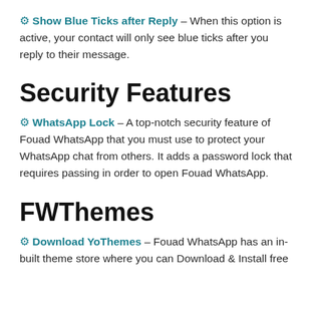⚙ Show Blue Ticks after Reply – When this option is active, your contact will only see blue ticks after you reply to their message.
Security Features
⚙ WhatsApp Lock – A top-notch security feature of Fouad WhatsApp that you must use to protect your WhatsApp chat from others. It adds a password lock that requires passing in order to open Fouad WhatsApp.
FWThemes
⚙ Download YoThemes – Fouad WhatsApp has an in-built theme store where you can Download & Install free